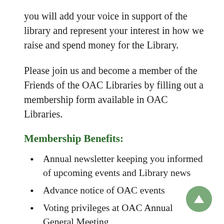you will add your voice in support of the library and represent your interest in how we raise and spend money for the Library.
Please join us and become a member of the Friends of the OAC Libraries by filling out a membership form available in OAC Libraries.
Membership Benefits:
Annual newsletter keeping you informed of upcoming events and Library news
Advance notice of OAC events
Voting privileges at OAC Annual General Meeting
Participation in volunteer committees